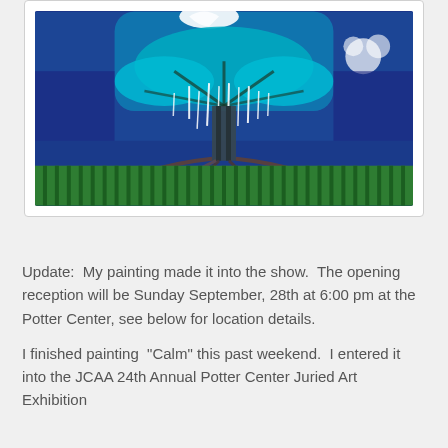[Figure (illustration): A painting showing a stylized tree with teal/turquoise branches spread wide against a deep blue background, with white dripping icicle-like elements hanging from the branches. The lower portion shows dark brown roots and a striped green ground. There appears to be a white bird or dove shape at the top and white floral elements on the right side.]
Update:  My painting made it into the show.  The opening reception will be Sunday September, 28th at 6:00 pm at the Potter Center, see below for location details.
I finished painting  "Calm" this past weekend.  I entered it into the JCAA 24th Annual Potter Center Juried Art Exhibition